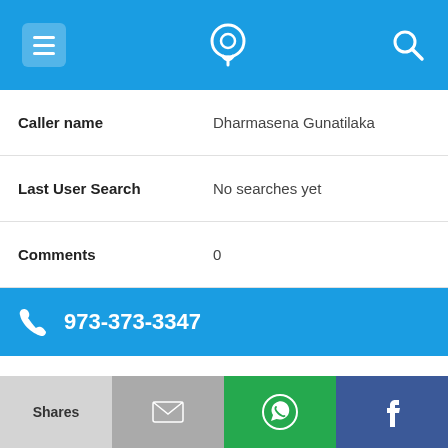Navigation bar with menu, phone location icon, and search icon
| Caller name | Dharmasena Gunatilaka |
| Last User Search | No searches yet |
| Comments | 0 |
973-373-3347
| Alternate Form | 9733733347 |
| Caller name | Errol Sutherland |
| Last User Search | No searches yet |
Shares | [email icon] | [WhatsApp icon] | [Facebook icon]